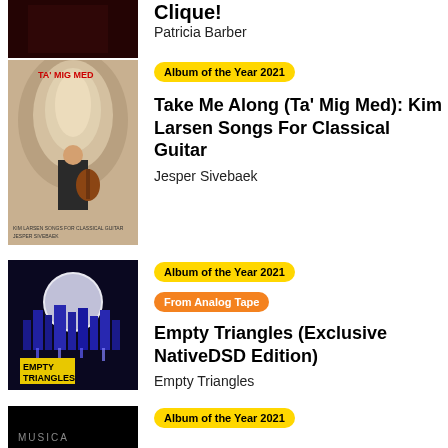[Figure (photo): Dark red/black album cover for Clique! by Patricia Barber]
Clique!
Patricia Barber
[Figure (photo): Album cover for Ta' Mig Med showing a guitarist sitting in an arched corridor]
Album of the Year 2021
Take Me Along (Ta' Mig Med): Kim Larsen Songs For Classical Guitar
Jesper Sivebaek
[Figure (photo): Dark blue album cover for Empty Triangles showing a moon above a city skyline with dripping elements and a yellow logo box]
Album of the Year 2021
From Analog Tape
Empty Triangles (Exclusive NativeDSD Edition)
Empty Triangles
[Figure (photo): Partial black album cover with MUSICA text visible at bottom]
Album of the Year 2021